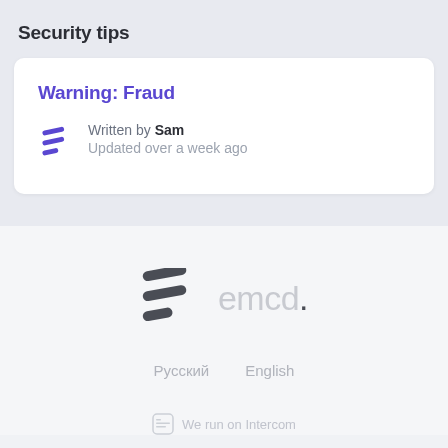Security tips
Warning: Fraud
Written by Sam
Updated over a week ago
[Figure (logo): EMCD logo — two stacked diagonal stripes forming an stylized E, dark gray, large size centered with emcd. wordmark]
Русский   English
We run on Intercom